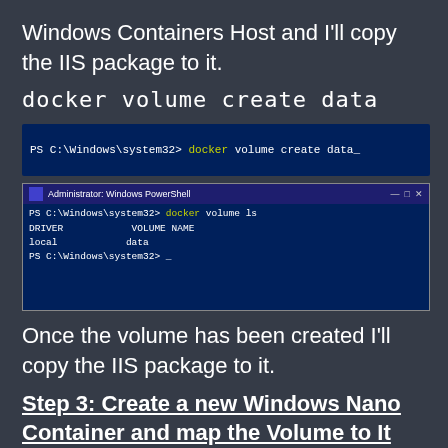Windows Containers Host and I'll copy the IIS package to it.
docker volume create data
[Figure (screenshot): PowerShell terminal showing command: PS C:\Windows\system32> docker volume create data_]
[Figure (screenshot): Administrator: Windows PowerShell window showing output of 'docker volume ls' command with DRIVER 'local' and VOLUME NAME 'data']
Once the volume has been created I'll copy the IIS package to it.
Step 3: Create a new Windows Nano Container and map the Volume to It